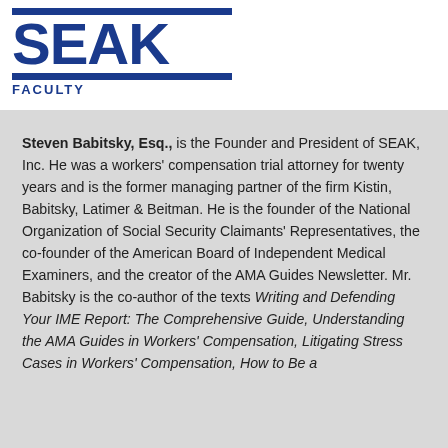[Figure (logo): SEAK logo with blue horizontal bars above and below large bold blue SEAK text, with FACULTY text below]
Steven Babitsky, Esq., is the Founder and President of SEAK, Inc. He was a workers' compensation trial attorney for twenty years and is the former managing partner of the firm Kistin, Babitsky, Latimer & Beitman. He is the founder of the National Organization of Social Security Claimants' Representatives, the co-founder of the American Board of Independent Medical Examiners, and the creator of the AMA Guides Newsletter. Mr. Babitsky is the co-author of the texts Writing and Defending Your IME Report: The Comprehensive Guide, Understanding the AMA Guides in Workers' Compensation, Litigating Stress Cases in Workers' Compensation, How to Be a Successful Expert Witness, SEAK's A-Z Guide